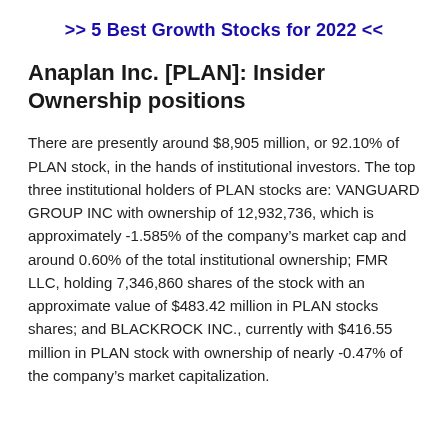>> 5 Best Growth Stocks for 2022 <<
Anaplan Inc. [PLAN]: Insider Ownership positions
There are presently around $8,905 million, or 92.10% of PLAN stock, in the hands of institutional investors. The top three institutional holders of PLAN stocks are: VANGUARD GROUP INC with ownership of 12,932,736, which is approximately -1.585% of the company’s market cap and around 0.60% of the total institutional ownership; FMR LLC, holding 7,346,860 shares of the stock with an approximate value of $483.42 million in PLAN stocks shares; and BLACKROCK INC., currently with $416.55 million in PLAN stock with ownership of nearly -0.47% of the company’s market capitalization.